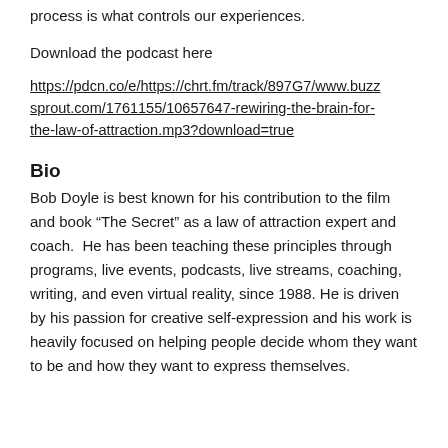process is what controls our experiences.
Download the podcast here
https://pdcn.co/e/https://chrt.fm/track/897G7/www.buzzsprout.com/1761155/10657647-rewiring-the-brain-for-the-law-of-attraction.mp3?download=true
Bio
Bob Doyle is best known for his contribution to the film and book “The Secret” as a law of attraction expert and coach.  He has been teaching these principles through programs, live events, podcasts, live streams, coaching, writing, and even virtual reality, since 1988. He is driven by his passion for creative self-expression and his work is heavily focused on helping people decide whom they want to be and how they want to express themselves.